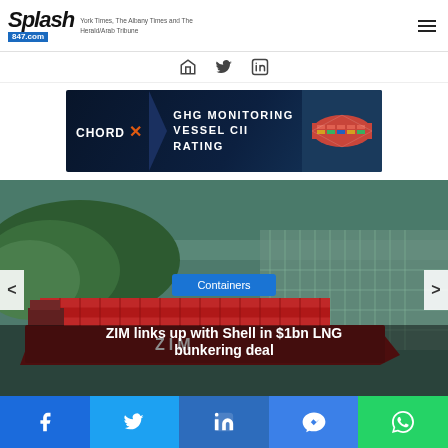Splash847.com
[Figure (screenshot): Splash847.com website header with logo, navigation tagline referencing Albany Times and Herald/Arab Tribune, hamburger menu icon, and social media icons (home, Twitter, LinkedIn)]
[Figure (photo): CHORD X advertisement banner for GHG Monitoring Vessel CII Rating with ship image on dark blue background]
[Figure (photo): Aerial view of ZIM container ship near marina with forested headland, showing carousel with 'Containers' badge and headline 'ZIM links up with Shell in $1bn LNG bunkering deal']
ZIM links up with Shell in $1bn LNG bunkering deal
Facebook Twitter LinkedIn Messenger WhatsApp social share buttons